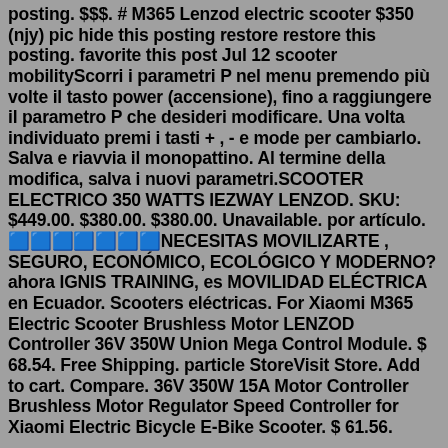posting. $$$. # M365 Lenzod electric scooter $350 (njy) pic hide this posting restore restore this posting. favorite this post Jul 12 scooter mobilityScorri i parametri P nel menu premendo più volte il tasto power (accensione), fino a raggiungere il parametro P che desideri modificare. Una volta individuato premi i tasti + , - e mode per cambiarlo. Salva e riavvia il monopattino. Al termine della modifica, salva i nuovi parametri.SCOOTER ELECTRICO 350 WATTS IEZWAY LENZOD. SKU: $449.00. $380.00. $380.00. Unavailable. por artículo. 🟦🟦🟦🟦🟦🟦🟦NECESITAS MOVILIZARTE , SEGURO, ECONÓMICO, ECOLÓGICO Y MODERNO? ahora IGNIS TRAINING, es MOVILIDAD ELÉCTRICA en Ecuador. Scooters eléctricas. For Xiaomi M365 Electric Scooter Brushless Motor LENZOD Controller 36V 350W Union Mega Control Module. $ 68.54. Free Shipping. particle StoreVisit Store. Add to cart. Compare. 36V 350W 15A Motor Controller Brushless Motor Regulator Speed Controller for Xiaomi Electric Bicycle E-Bike Scooter. $ 61.56.